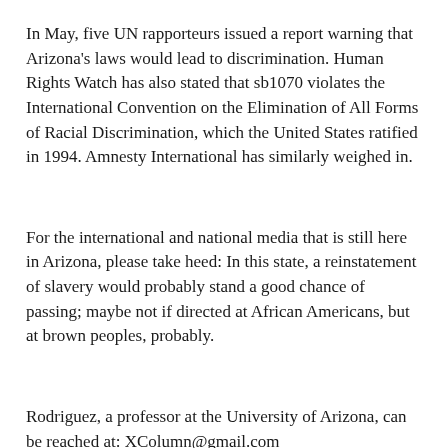In May, five UN rapporteurs issued a report warning that Arizona's laws would lead to discrimination. Human Rights Watch has also stated that sb1070 violates the International Convention on the Elimination of All Forms of Racial Discrimination, which the United States ratified in 1994. Amnesty International has similarly weighed in.
For the international and national media that is still here in Arizona, please take heed: In this state, a reinstatement of slavery would probably stand a good chance of passing; maybe not if directed at African Americans, but at brown peoples, probably.
Rodriguez, a professor at the University of Arizona, can be reached at: XColumn@gmail.com